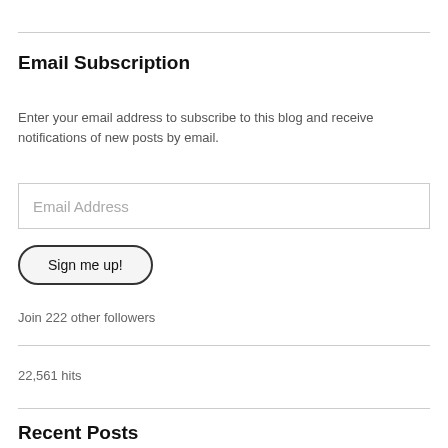Email Subscription
Enter your email address to subscribe to this blog and receive notifications of new posts by email.
Email Address
Sign me up!
Join 222 other followers
22,561 hits
Recent Posts